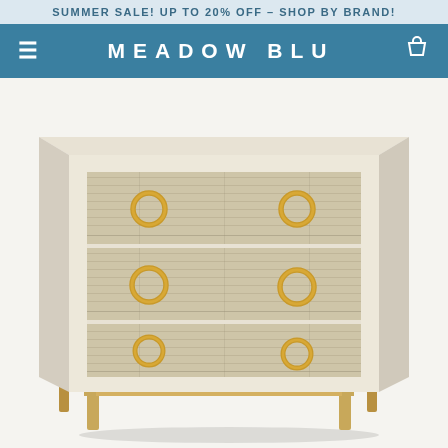SUMMER SALE! UP TO 20% OFF – SHOP BY BRAND!
MEADOW BLU
[Figure (photo): A three-drawer chest/dresser with cream/ivory body and shagreen-textured drawer fronts, featuring brass ring pulls on each drawer (two per drawer, six total), sitting on a brass/gold metal base frame. The furniture piece is photographed on a light grey/white background.]